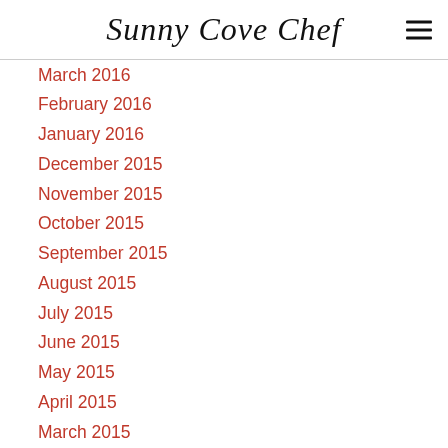Sunny Cove Chef
March 2016
February 2016
January 2016
December 2015
November 2015
October 2015
September 2015
August 2015
July 2015
June 2015
May 2015
April 2015
March 2015
February 2015
January 2015
December 2014
November 2014